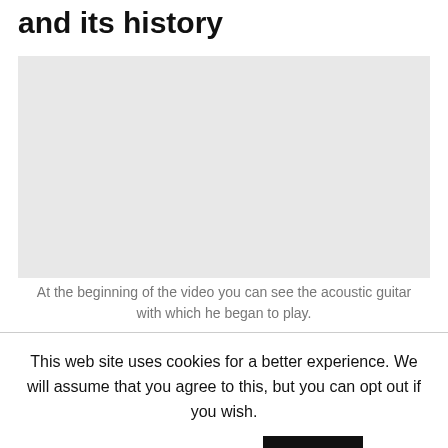and its history
[Figure (other): Video player placeholder showing an embedded video about acoustic guitar]
At the beginning of the video you can see the acoustic guitar with which he began to play.
This web site uses cookies for a better experience. We will assume that you agree to this, but you can opt out if you wish. Cookie settings  I accept